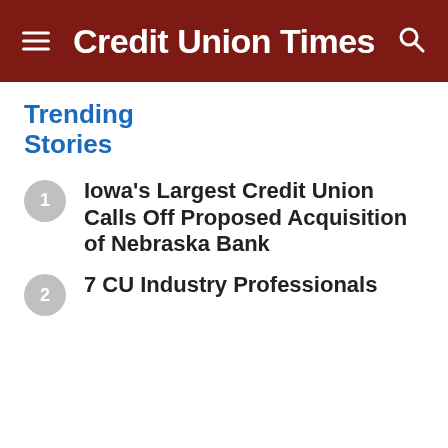Credit Union Times
Trending Stories
Iowa's Largest Credit Union Calls Off Proposed Acquisition of Nebraska Bank
7 CU Industry Professionals